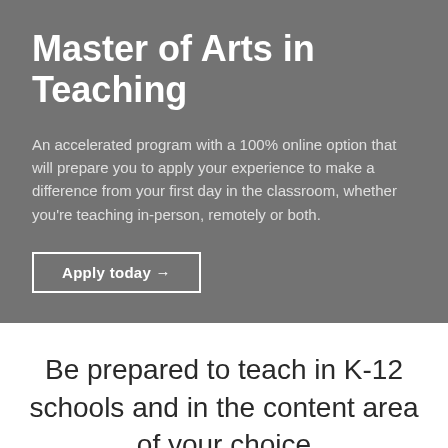Master of Arts in Teaching
An accelerated program with a 100% online option that will prepare you to apply your experience to make a difference from your first day in the classroom, whether you're teaching in-person, remotely or both.
Apply today →
Be prepared to teach in K-12 schools and in the content area of your choice